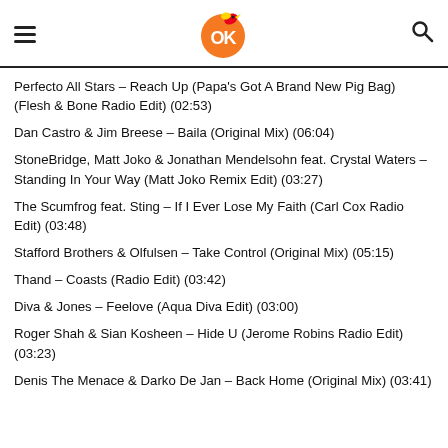OK fm logo header
Perfecto All Stars – Reach Up (Papa's Got A Brand New Pig Bag) (Flesh & Bone Radio Edit) (02:53)
Dan Castro & Jim Breese – Baila (Original Mix) (06:04)
StoneBridge, Matt Joko & Jonathan Mendelsohn feat. Crystal Waters – Standing In Your Way (Matt Joko Remix Edit) (03:27)
The Scumfrog feat. Sting – If I Ever Lose My Faith (Carl Cox Radio Edit) (03:48)
Stafford Brothers & Olfulsen – Take Control (Original Mix) (05:15)
Thand – Coasts (Radio Edit) (03:42)
Diva & Jones – Feelove (Aqua Diva Edit) (03:00)
Roger Shah & Sian Kosheen – Hide U (Jerome Robins Radio Edit) (03:23)
Denis The Menace & Darko De Jan – Back Home (Original Mix) (03:41)